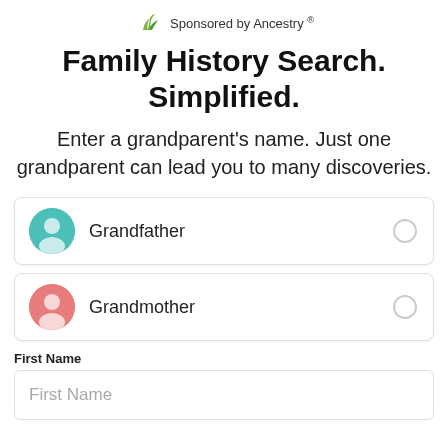[Figure (logo): Ancestry leaf logo with text 'Sponsored by Ancestry']
Family History Search. Simplified.
Enter a grandparent's name. Just one grandparent can lead you to many discoveries.
Grandfather
Grandmother
First Name
First Name